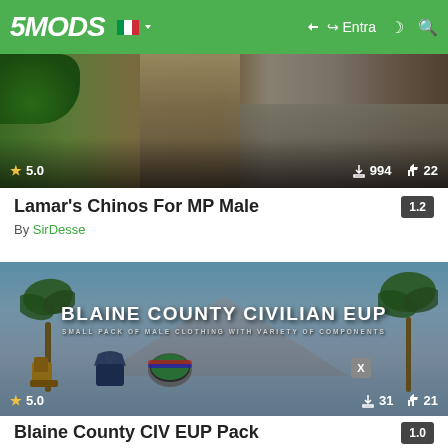5MODS — Entra
[Figure (screenshot): Game screenshot showing lower body of a character wearing chinos, with plants and car in background. Stats: 5.0 stars, 994 downloads, 22 likes.]
Lamar's Chinos For MP Male
By SirDesse
[Figure (screenshot): Promotional banner for Blaine County Civilian EUP pack showing palm trees, mountains, and clothing items (boots, jacket, goggles). Stats: 5.0 stars, 31x downloads, 21 likes.]
Blaine County CIV EUP Pack